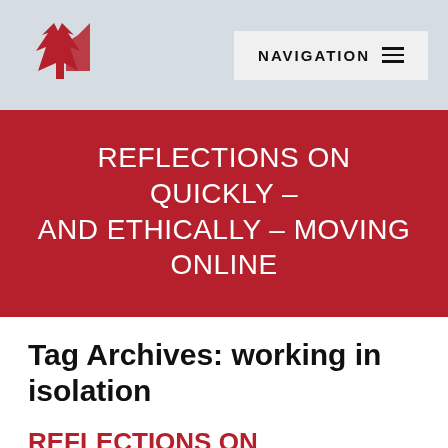[Figure (logo): Red maple leaf / NL logo mark in top left of header]
NAVIGATION ≡
REFLECTIONS ON QUICKLY – AND ETHICALLY – MOVING ONLINE
Tag Archives: working in isolation
REFLECTIONS ON QUICKLY – AND